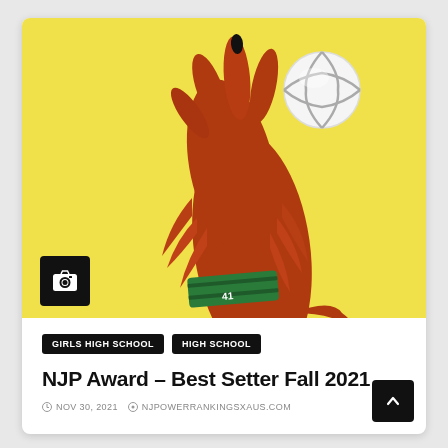[Figure (illustration): A red dog's paw/arm reaching up toward a volleyball, set against a yellow background. The dog is wearing a green wristband. A camera icon badge is overlaid in the bottom-left of the image.]
GIRLS HIGH SCHOOL
HIGH SCHOOL
NJP Award – Best Setter Fall 2021
NOV 30, 2021   NJPOWERRANKINGSXAUS.COM